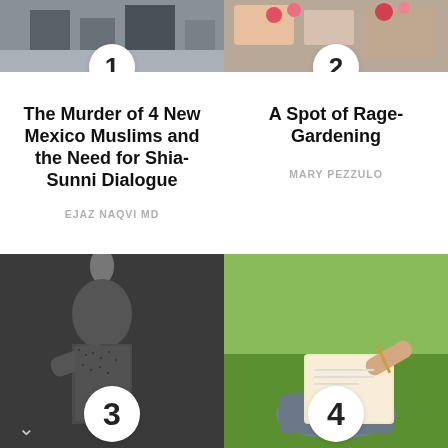[Figure (photo): Article thumbnail photo 1 - building exterior]
The Murder of 4 New Mexico Muslims and the Need for Shia-Sunni Dialogue
EJAZ NAQVI MD
[Figure (photo): Article thumbnail photo 2 - flowers/garden]
A Spot of Rage-Gardening
MARY PEZZULO
[Figure (photo): Article thumbnail photo 3 - black and white musician at microphone]
[Figure (photo): Article thumbnail photo 4 - person writing outdoors on grass]